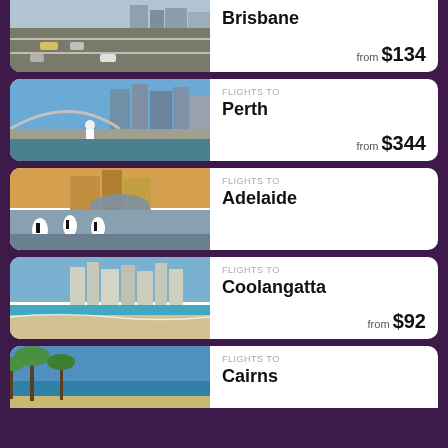[Figure (photo): Partial card for Brisbane showing city highway aerial view, cropped at top]
Brisbane
from $134
[Figure (photo): Perth city skyline with cyclist on bridge walkway]
FLIGHTS TO Perth
from $344
[Figure (photo): Adelaide with pelicans by waterfront, oval building reflection]
FLIGHTS TO Adelaide
[Figure (photo): Coolangatta beach aerial with highrise buildings]
FLIGHTS TO Coolangatta
from $92
[Figure (photo): Cairns tropical beach with palm trees]
FLIGHTS TO Cairns